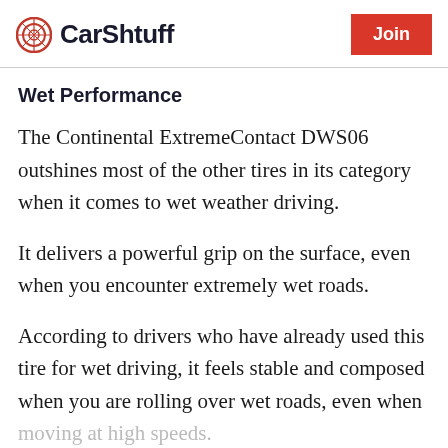CarShtuff | Join
Wet Performance
The Continental ExtremeContact DWS06 outshines most of the other tires in its category when it comes to wet weather driving.
It delivers a powerful grip on the surface, even when you encounter extremely wet roads.
According to drivers who have already used this tire for wet driving, it feels stable and composed when you are rolling over wet roads, even when moving at high speeds.